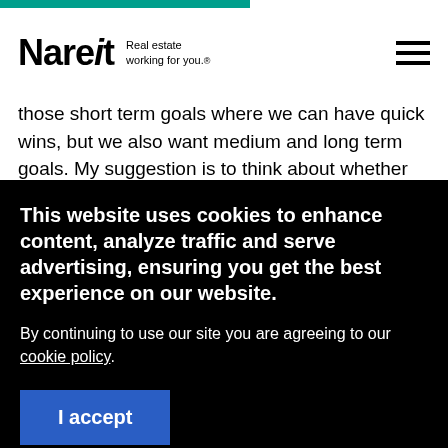[Figure (logo): Nareit logo with tagline 'Real estate working for you.']
those short term goals where we can have quick wins, but we also want medium and long term goals. My suggestion is to think about whether you need external help and support. If so, invest, don't go cheap. And then, build a common language around DEI so that you know what it actually means for your organization, and shift from thinking about it as a problem to be solved
This website uses cookies to enhance content, analyze traffic and serve advertising, ensuring you get the best experience on our website.
By continuing to use our site you are agreeing to our cookie policy.
I accept